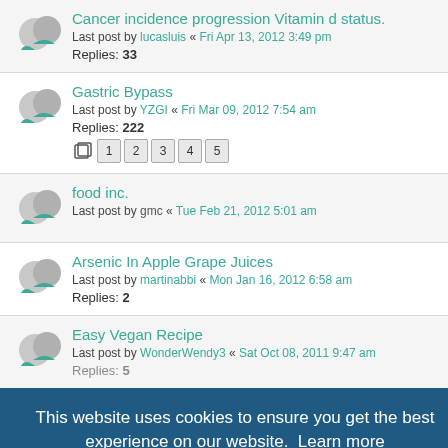Cancer incidence progression Vitamin d status. Last post by lucasluis « Fri Apr 13, 2012 3:49 pm Replies: 33
Gastric Bypass Last post by YZGI « Fri Mar 09, 2012 7:54 am Replies: 222 [pages 1 2 3 4 5]
food inc. Last post by gmc « Tue Feb 21, 2012 5:01 am
Arsenic In Apple Grape Juices Last post by martinabbi « Mon Jan 16, 2012 6:58 am Replies: 2
Easy Vegan Recipe Last post by WonderWendy3 « Sat Oct 08, 2011 9:47 am Replies: 5
Forming of Test... on the b... Last post by ... « Sat ... 2011 ... am Replies: 23
Forming of Testosterone on the b... Last post by ... « Sat ... 2011 ... am Replies: 3
This website uses cookies to ensure you get the best experience on our website. Learn more
Got it!